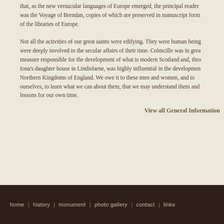that, as the new vernacular languages of Europe emerged, the principal reader was the Voyage of Brendan, copies of which are preserved in manuscript form of the libraries of Europe.
Not all the activities of our great saints were edifying. They were human beings were deeply involved in the secular affairs of their time. Colmcille was in great measure responsible for the development of what is modern Scotland and, through Iona’s daughter house in Lindisfarne, was highly influential in the development Northern Kingdoms of England. We owe it to these men and women, and to ourselves, to learn what we can about them, that we may understand them and lessons for our own time.
View all General Information
home | history | monument | photo gallery | contact | links